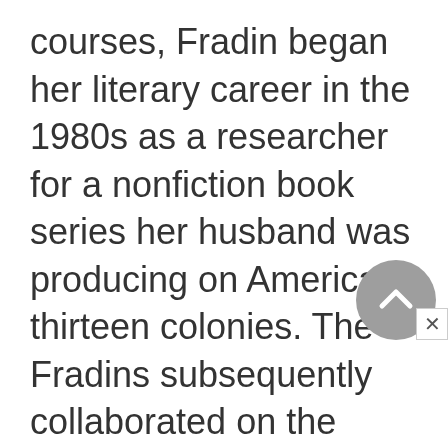courses, Fradin began her literary career in the 1980s as a researcher for a nonfiction book series her husband was producing on America's thirteen colonies. The Fradins subsequently collaborated on the informational "From Sea to Shining Sea" series. Focusing on the unique history and geography of many states in the union, the series also presents famous people who hail from each state, and the state's current developments and future trends as